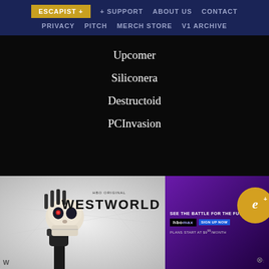ESCAPIST + | + SUPPORT | ABOUT US | CONTACT | PRIVACY | PITCH | MERCH STORE | V1 ARCHIVE
Upcomer
Siliconera
Destructoid
PCInvasion
[Figure (screenshot): Advertisement showing Westworld HBO Max promotional banner with a robot skull image on the left side and purple HBO Max promotional text on the right, with an Escapist+ gold badge overlay]